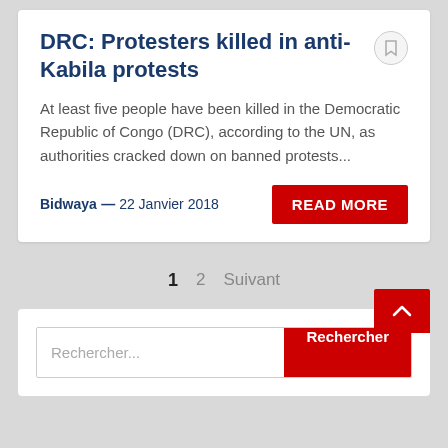DRC: Protesters killed in anti-Kabila protests
At least five people have been killed in the Democratic Republic of Congo (DRC), according to the UN, as authorities cracked down on banned protests...
Bidwaya — 22 Janvier 2018
READ MORE
1  2  Suivant
Rechercher...
Rechercher